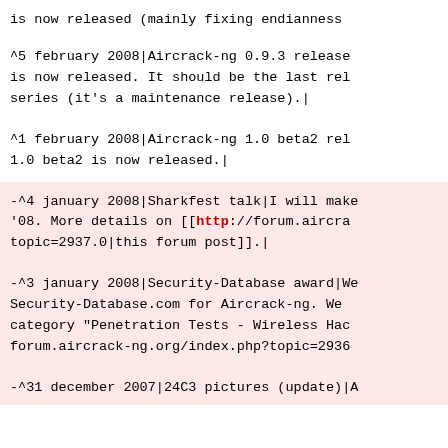is now released (mainly fixing endianness
^5 february 2008|Aircrack-ng 0.9.3 release is now released. It should be the last rel series (it's a maintenance release).|
^1 february 2008|Aircrack-ng 1.0 beta2 rel 1.0 beta2 is now released.|
-^4 january 2008|Sharkfest talk|I will make '08. More details on [[http://forum.aircra topic=2937.0|this forum post]].|
-^3 january 2008|Security-Database award|We Security-Database.com for Aircrack-ng. We category "Penetration Tests - Wireless Hac forum.aircrack-ng.org/index.php?topic=2936
-^31 december 2007|24C3 pictures (update)|A